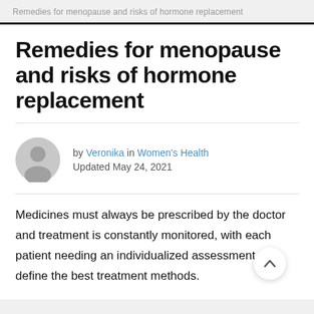Remedies for menopause and risks of hormone replacement
Remedies for menopause and risks of hormone replacement
by Veronika in Women's Health
Updated May 24, 2021
Medicines must always be prescribed by the doctor and treatment is constantly monitored, with each patient needing an individualized assessment to define the best treatment methods.